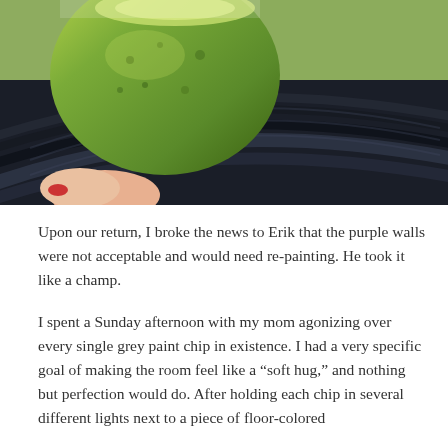[Figure (photo): Close-up photo of a green coconut/fruit held by a hand with red nail polish, resting against a dark navy/black ribbed fabric surface with curved ridges. Background shows blurred green foliage.]
Upon our return, I broke the news to Erik that the purple walls were not acceptable and would need re-painting. He took it like a champ.
I spent a Sunday afternoon with my mom agonizing over every single grey paint chip in existence. I had a very specific goal of making the room feel like a “soft hug,” and nothing but perfection would do. After holding each chip in several different lights next to a piece of floor-colored